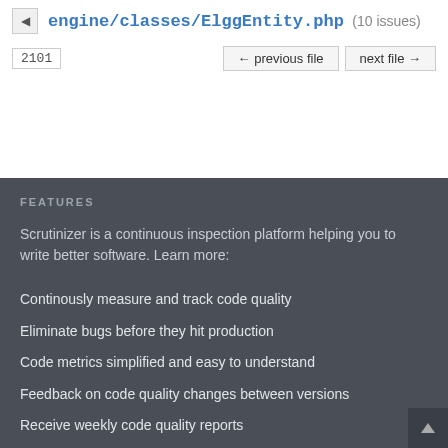engine/classes/ElggEntity.php (10 issues)
2101
FEATURES
Scrutinizer is a continuous inspection platform helping you to write better software. Learn more:
Continously measure and track code quality
Eliminate bugs before they hit production
Code metrics simplified and easy to understand
Feedback on code quality changes between versions
Receive weekly code quality reports